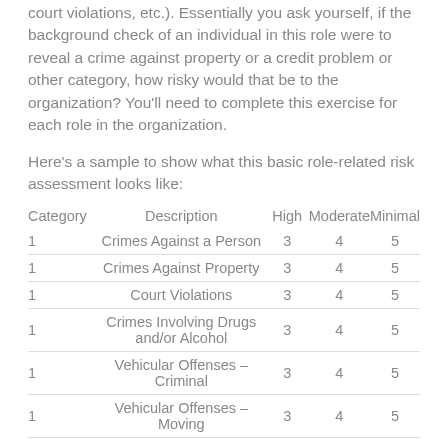court violations, etc.). Essentially you ask yourself, if the background check of an individual in this role were to reveal a crime against property or a credit problem or other category, how risky would that be to the organization? You'll need to complete this exercise for each role in the organization.
Here's a sample to show what this basic role-related risk assessment looks like:
| Category | Description | High | Moderate | Minimal |
| --- | --- | --- | --- | --- |
| 1 | Crimes Against a Person | 3 | 4 | 5 |
| 1 | Crimes Against Property | 3 | 4 | 5 |
| 1 | Court Violations | 3 | 4 | 5 |
| 1 | Crimes Involving Drugs and/or Alcohol | 3 | 4 | 5 |
| 1 | Vehicular Offenses – Criminal | 3 | 4 | 5 |
| 1 | Vehicular Offenses – Moving | 3 | 4 | 5 |